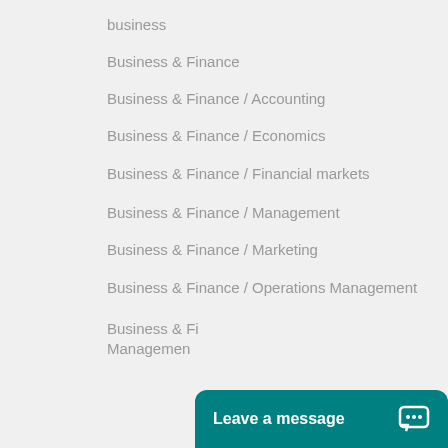business
Business & Finance
Business & Finance / Accounting
Business & Finance / Economics
Business & Finance / Financial markets
Business & Finance / Management
Business & Finance / Marketing
Business & Finance / Operations Management
Business & Fi... / ... Management